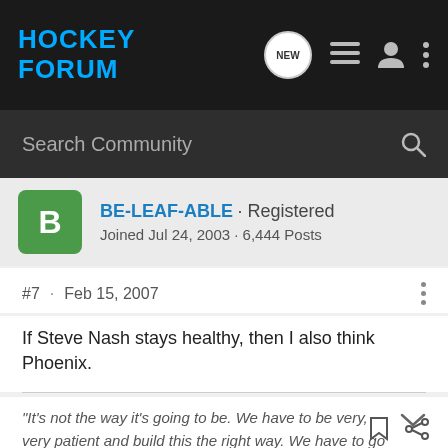HOCKEY FORUM
Search Community
BE-LEAF-ABLE · Registered
Joined Jul 24, 2003 · 6,444 Posts
#7 · Feb 15, 2007
If Steve Nash stays healthy, then I also think Phoenix.
"It's not the way it's going to be. We have to be very, very patient and build this the right way. We have to go through a process. It